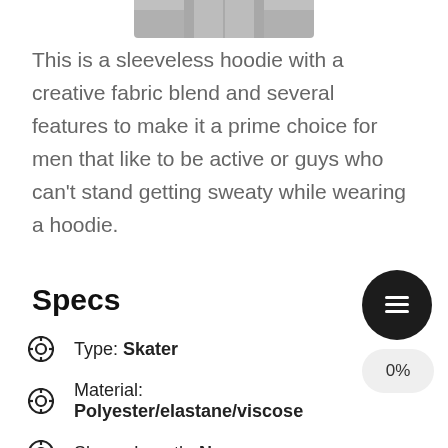[Figure (photo): Partial bottom view of a sleeveless hoodie garment in gray]
This is a sleeveless hoodie with a creative fabric blend and several features to make it a prime choice for men that like to be active or guys who can't stand getting sweaty while wearing a hoodie.
Specs
Type: Skater
Material: Polyester/elastane/viscose
Sleeve Length: None
Color: Variable